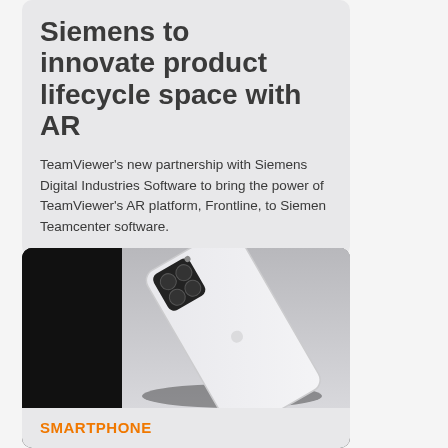TeamViewer and Siemens to innovate product lifecycle space with AR
TeamViewer's new partnership with Siemens Digital Industries Software to bring the power of TeamViewer's AR platform, Frontline, to Siemen Teamcenter software.
[Figure (photo): Photo of a white smartphone lying flat against a light gray surface with a dark shadow behind it, with a dark left portion of the image.]
SMARTPHONE